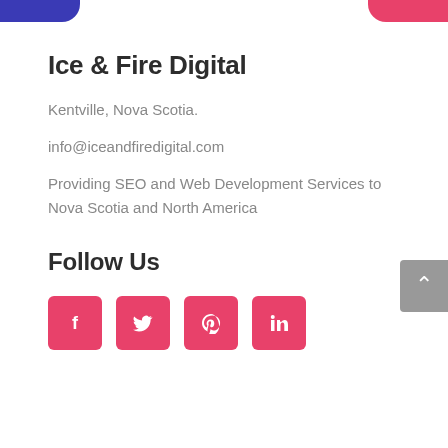Ice & Fire Digital
Kentville, Nova Scotia.
info@iceandfiredigital.com
Providing SEO and Web Development Services to Nova Scotia and North America
Follow Us
[Figure (other): Four pink social media icon buttons: Facebook, Twitter, Pinterest, LinkedIn]